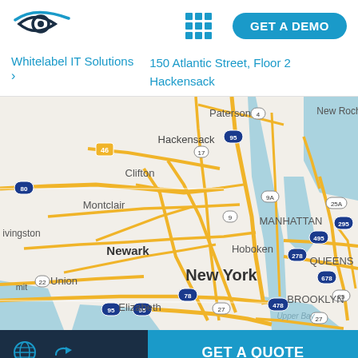[Figure (logo): Eye/vision logo in dark blue]
GET A DEMO
Whitelabel IT Solutions
150 Atlantic Street, Floor 2 Hackensack
[Figure (map): Google Maps view of New York/New Jersey metro area showing Hackensack, Paterson, Clifton, Montclair, Livingston, Newark, Hoboken, Manhattan, Queens, Brooklyn, Elizabeth, Union area with road network]
GET A QUOTE